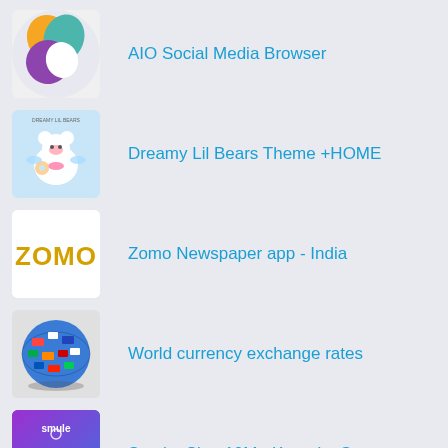AIO Social Media Browser
Dreamy Lil Bears Theme +HOME
Zomo Newspaper app - India
World currency exchange rates
Smule: Sing 10M+ Karaoke Songs